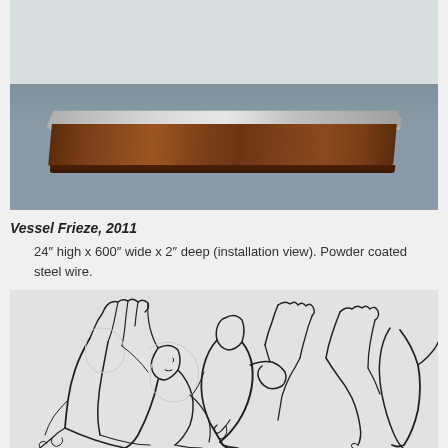[Figure (photo): Installation view of Vessel Frieze showing a dark wood shelf/slab with a metallic band, mounted on a grey wall. The shelf is photographed from a low angle showing its face and top surface.]
Vessel Frieze, 2011
24″ high x 600″ wide x 2″ deep (installation view). Powder coated steel wire.
[Figure (photo): Wire sculpture artwork showing abstract human figures made from powder coated steel wire, depicting people with raised hands and intertwined bodies against a light background.]